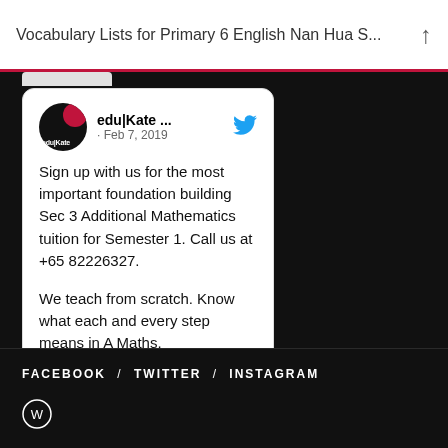Vocabulary Lists for Primary 6 English Nan Hua S...
[Figure (screenshot): Tweet card from edu|Kate account dated Feb 7, 2019 with Twitter bird icon and avatar showing edu|Kate logo in black and red]
Sign up with us for the most important foundation building Sec 3 Additional Mathematics tuition for Semester 1. Call us at +65 82226327.

We teach from scratch. Know what each and every step means in A Maths.
FACEBOOK / TWITTER / INSTAGRAM